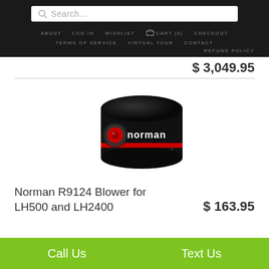Search... | ABOUT | LOG IN | WISHLIST | CART (0) | CHECKOUT | TERMS OF SERVICE | VIRTUAL TOUR | CONTACT | REFUND POLICY
$ 3,049.95
[Figure (photo): Norman R9124 blower unit — a small black cylindrical component with a red circular element on the front and 'norman' branding text on the side with a red stripe]
Norman R9124 Blower for LH500 and LH2400
$ 163.95
Call Us   Text Us